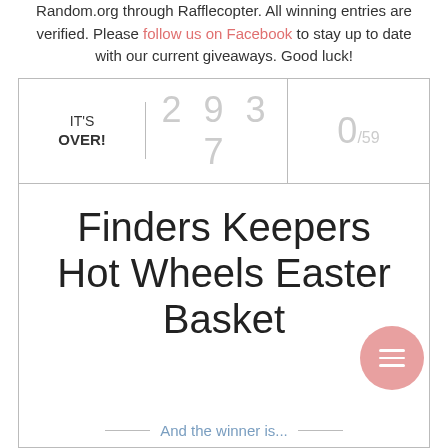Random.org through Rafflecopter. All winning entries are verified. Please follow us on Facebook to stay up to date with our current giveaways. Good luck!
| IT'S OVER! | 2 9 3 7 | 0/59 |
| --- | --- | --- |
Finders Keepers Hot Wheels Easter Basket
And the winner is...